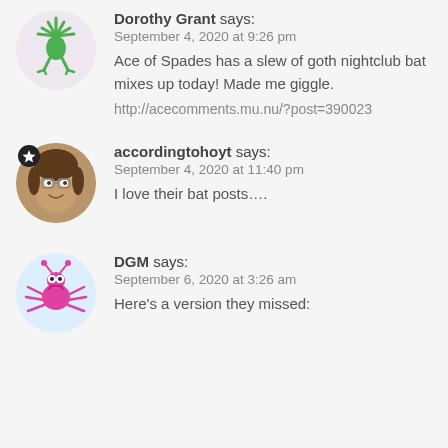[Figure (illustration): Circular avatar with pink background showing a green cartoon creature with spiky limbs]
Dorothy Grant says:
September 4, 2020 at 9:26 pm
Ace of Spades has a slew of goth nightclub bat mixes up today! Made me giggle.
http://acecomments.mu.nu/?post=390023
[Figure (photo): Circular avatar with star badge showing a smiling woman's photo]
accordingtohoyt says:
September 4, 2020 at 11:40 pm
I love their bat posts….
[Figure (illustration): Circular avatar with light blue background showing a pink cartoon bug/monster creature]
DGM says:
September 6, 2020 at 3:26 am
Here's a version they missed: